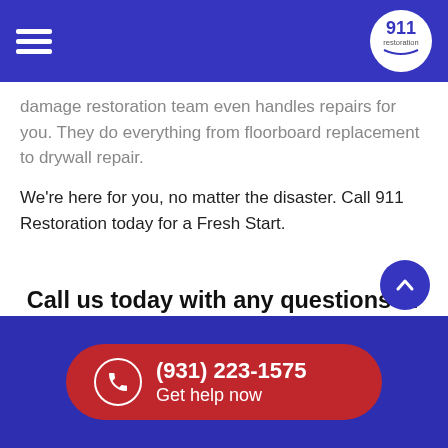911 Restoration (logo and hamburger menu)
damage restoration team even handles repairs for you. They do everything from floorboard replacement to drywall repair.
We're here for you, no matter the disaster. Call 911 Restoration today for a Fresh Start.
Call us today with any questions or concerns! (931) 223-1575
1961 Fort Campbell Blvd. Clarksville TN 37042
*Property Owners Only. Restrictions Apply
(931) 223-1575 Get help now